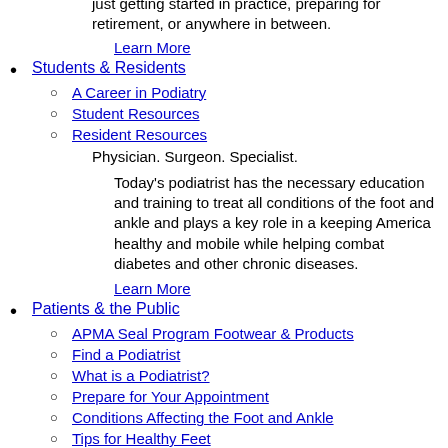just getting started in practice, preparing for retirement, or anywhere in between.
Learn More
Students & Residents
A Career in Podiatry
Student Resources
Resident Resources
Physician. Surgeon. Specialist.
Today's podiatrist has the necessary education and training to treat all conditions of the foot and ankle and plays a key role in a keeping America healthy and mobile while helping combat diabetes and other chronic diseases.
Learn More
Patients & the Public
APMA Seal Program Footwear & Products
Find a Podiatrist
What is a Podiatrist?
Prepare for Your Appointment
Conditions Affecting the Foot and Ankle
Tips for Healthy Feet
Foot Health Awareness Month